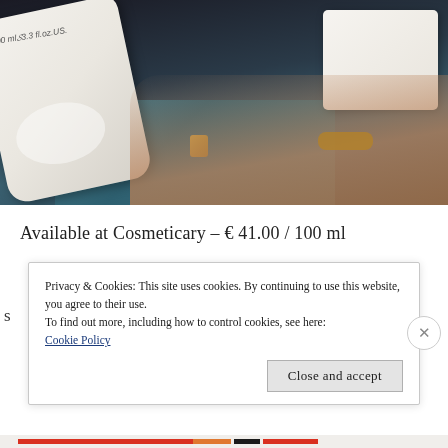[Figure (photo): Photo of a white cosmetic product bottle (100 ml / 3.3 fl.oz US) and a cream box held/resting near a teal designer bag, with a person's hand wearing a gold bracelet visible.]
Available at Cosmeticary – € 41.00 / 100 ml
Privacy & Cookies: This site uses cookies. By continuing to use this website, you agree to their use.
To find out more, including how to control cookies, see here:
Cookie Policy
Close and accept